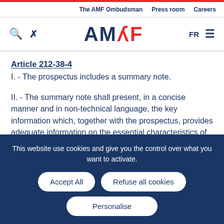The AMF Ombudsman   Press room   Careers
[Figure (logo): AMF logo with search icon, tools icon, FR language selector and hamburger menu]
Article 212-38-4
I. - The prospectus includes a summary note.
II. - The summary note shall present, in a concise manner and in non-technical language, the key information which, together with the prospectus, provides adequate information on the essential characteristics of the shares and mutual company certificates concerned, in order to
This website use cookies and give you the control over what you want to activate.
Accept All   Refuse all cookies   Personalise